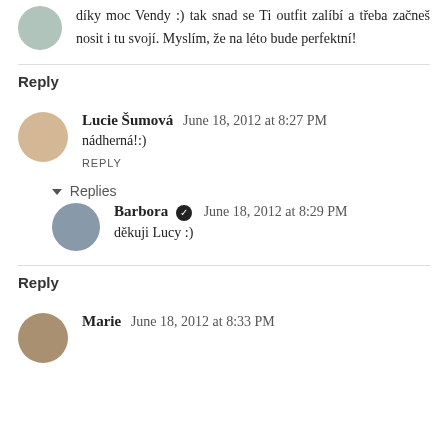díky moc Vendy :) tak snad se Ti outfit zalíbí a třeba začneš nosit i tu svojí. Myslím, že na léto bude perfektní!
Reply
Lucie Šumová  June 18, 2012 at 8:27 PM
nádherná!:)
REPLY
▾  Replies
Barbora ✔  June 18, 2012 at 8:29 PM
děkuji Lucy :)
Reply
Marie  June 18, 2012 at 8:33 PM